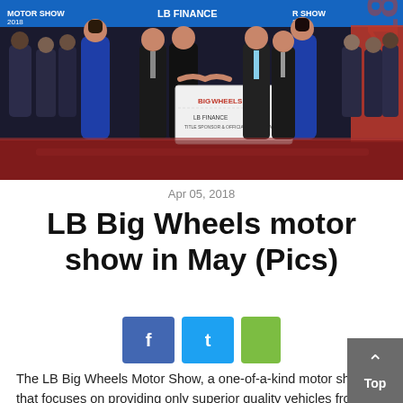[Figure (photo): Group photo at LB Big Wheels motor show event: several people in formal wear on a stage, two women in blue gowns on either side, men in suits shaking hands in center, banner in background reading 'BIG WHEELS' and 'LB FINANCE TITLE SPONSOR & OFFICIAL LEASING PARTNER', event backdrop with 'MOTOR SHOW 2018'.]
Apr 05, 2018
LB Big Wheels motor show in May (Pics)
The LB Big Wheels Motor Show, a one-of-a-kind motor show that focuses on providing only superior quality vehicles from the world's leading automotive manufacturers, is set to take place